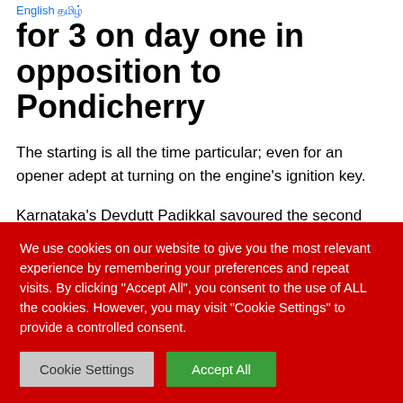for 3 on day one in opposition to Pondicherry
The starting is all the time particular; even for an opener adept at turning on the engine's ignition key.
Karnataka's Devdutt Padikkal savoured the second when he guided Pondicherry paceman Sagar Trivedi for a brace behind level; he had progressed from 98 to hundred.
We use cookies on our website to give you the most relevant experience by remembering your preferences and repeat visits. By clicking "Accept All", you consent to the use of ALL the cookies. However, you may visit "Cookie Settings" to provide a controlled consent.